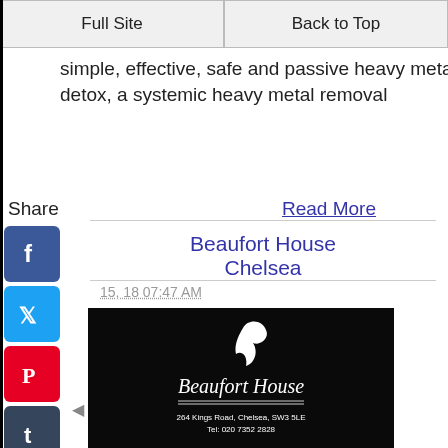Full Site | Back to Top
simple, effective, safe and passive heavy metal detox, a systemic heavy metal removal
Share
Read More
Beaufort House Chelsea
15, 18 07:47 AM
[Figure (logo): Beaufort House logo on black background with address details: 264 Kings Road, Chelsea, SW3 5LE, Tel: 020 7352 2828]
Beaufort House Chelsea a home-from-home atmosphere is everything you could possibly want